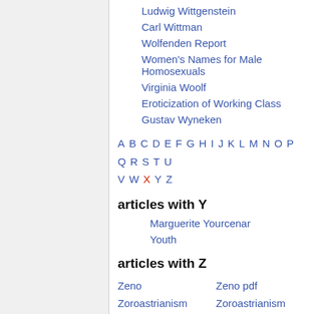Ludwig Wittgenstein
Carl Wittman
Wolfenden Report
Women's Names for Male Homosexuals
Virginia Woolf
Eroticization of Working Class
Gustav Wyneken
A B C D E F G H I J K L M N O P Q R S T U V W X Y Z
articles with Y
Marguerite Yourcenar
Youth
articles with Z
Zeno
Zeno pdf
Zoroastrianism
Zoroastrianism